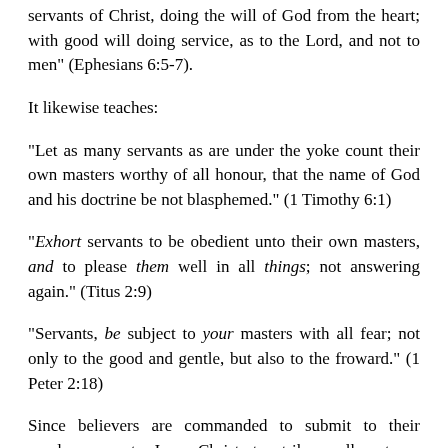servants of Christ, doing the will of God from the heart; with good will doing service, as to the Lord, and not to men" (Ephesians 6:5-7).
It likewise teaches:
"Let as many servants as are under the yoke count their own masters worthy of all honour, that the name of God and his doctrine be not blasphemed." (1 Timothy 6:1)
"Exhort servants to be obedient unto their own masters, and to please them well in all things; not answering again." (Titus 2:9)
"Servants, be subject to your masters with all fear; not only to the good and gentle, but also to the froward." (1 Peter 2:18)
Since believers are commanded to submit to their employers as to Jesus Christ, to strike, walk out on, speak evil of, disobey, undermine, or provoke discontent against their employers is to